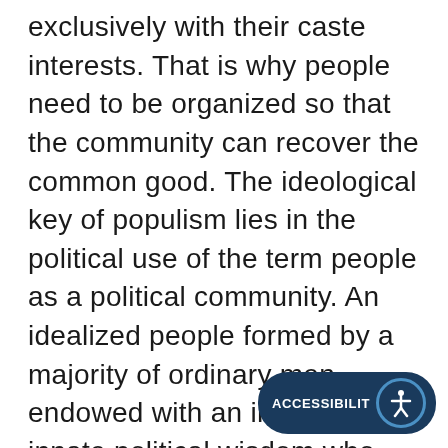exclusively with their caste interests. That is why people need to be organized so that the community can recover the common good. The ideological key of populism lies in the political use of the term people as a political community. An idealized people formed by a majority of ordinary men endowed with an instinct and innate political wisdom who cannot develop because the corrupt governing elites have betrayed them. The organization of the people must be realised though a movement that stands above party and class.